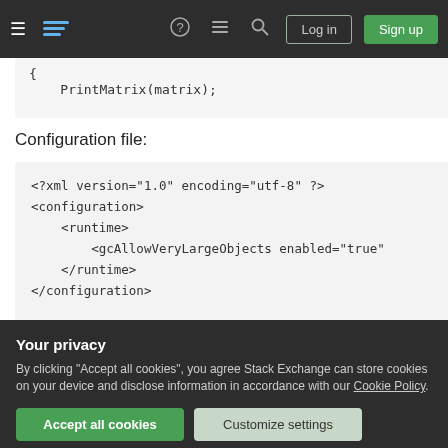[Figure (screenshot): Stack Exchange navigation bar with hamburger menu, logo, icons, Log in and Sign up buttons on dark background]
{
    PrintMatrix(matrix);
Configuration file:
<?xml version="1.0" encoding="utf-8" ?>
<configuration>
    <runtime>
        <gcAllowVeryLargeObjects enabled="true"
    </runtime>
</configuration>
Share
edited Apr 12, 2017 at 12:20
Your privacy
By clicking "Accept all cookies", you agree Stack Exchange can store cookies on your device and disclose information in accordance with our Cookie Policy.
Accept all cookies
Customize settings